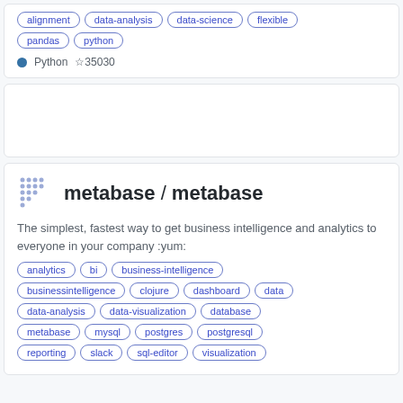alignment, data-analysis, data-science, flexible, pandas, python
Python ☆35030
[Figure (other): Empty card placeholder]
metabase/metabase
The simplest, fastest way to get business intelligence and analytics to everyone in your company :yum:
analytics, bi, business-intelligence, businessintelligence, clojure, dashboard, data, data-analysis, data-visualization, database, metabase, mysql, postgres, postgresql, reporting, slack, sql-editor, visualization